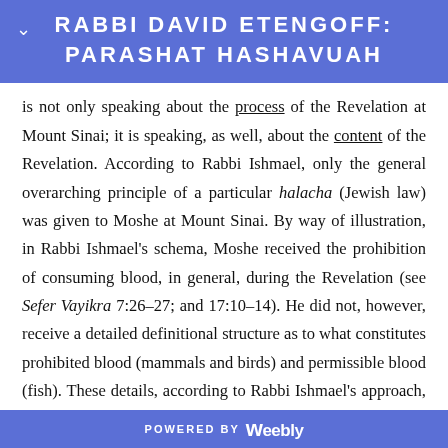RABBI DAVID ETENGOFF: PARASHAT HASHAVUAH
is not only speaking about the process of the Revelation at Mount Sinai; it is speaking, as well, about the content of the Revelation. According to Rabbi Ishmael, only the general overarching principle of a particular halacha (Jewish law) was given to Moshe at Mount Sinai. By way of illustration, in Rabbi Ishmael's schema, Moshe received the prohibition of consuming blood, in general, during the Revelation (see Sefer Vayikra 7:26-27; and 17:10-14). He did not, however, receive a detailed definitional structure as to what constitutes prohibited blood (mammals and birds) and permissible blood (fish). These details, according to Rabbi Ishmael's approach, were
POWERED BY weebly